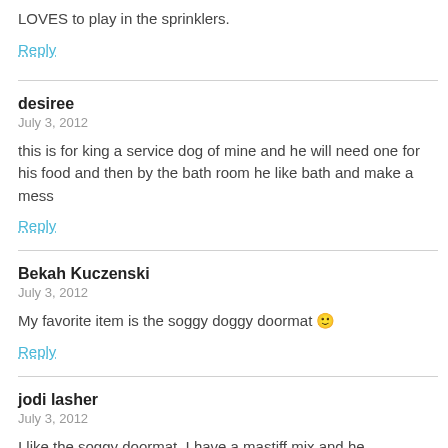LOVES to play in the sprinklers.
Reply
desiree
July 3, 2012
this is for king a service dog of mine and he will need one for his food and then by the bath room he like bath and make a mess
Reply
Bekah Kuczenski
July 3, 2012
My favorite item is the soggy doggy doormat 🙂
Reply
jodi lasher
July 3, 2012
I like the soggy doormat. I have a mastiff mix and he